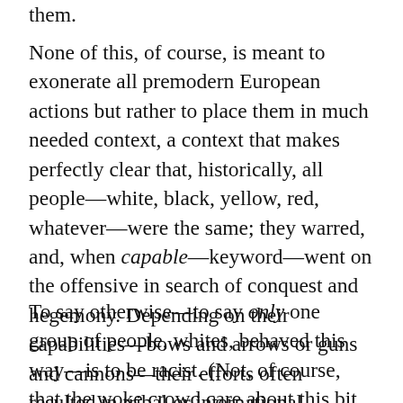them.
None of this, of course, is meant to exonerate all premodern European actions but rather to place them in much needed context, a context that makes perfectly clear that, historically, all people—white, black, yellow, red, whatever—were the same; they warred, and, when capable—keyword—went on the offensive in search of conquest and hegemony. Depending on their capabilities—bows and arrows or guns and cannons—their efforts often resulted in tribal or international hegemony.
To say otherwise—to say only one group of people, whites, behaved this way—is to be racist. (Not, of course, that the woke crowd care about this bit of inconsistency.)